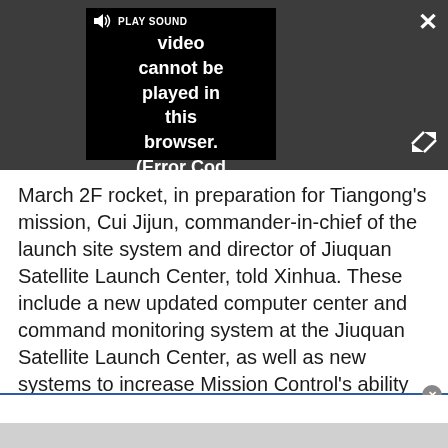[Figure (screenshot): A video player embedded in a dark gray browser area showing a black video frame with 'PLAY SOUND' label and speaker icon, and text reading 'Video cannot be played in this browser. (Error Cod' with a close X button top right and expand arrows bottom right.]
March 2F rocket, in preparation for Tiangong's mission, Cui Jijun, commander-in-chief of the launch site system and director of Jiuquan Satellite Launch Center, told Xinhua. These include a new updated computer center and command monitoring system at the Jiuquan Satellite Launch Center, as well as new systems to increase Mission Control's ability to adapt to changes that may occur during the mission.